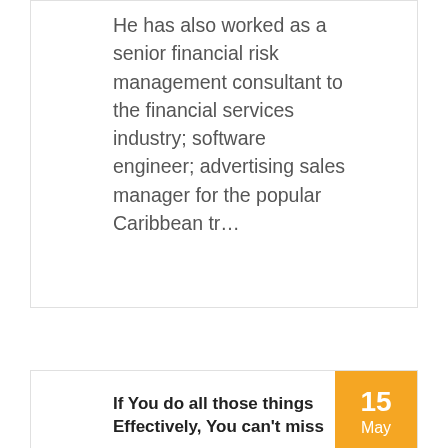He has also worked as a senior financial risk management consultant to the financial services industry; software engineer; advertising sales manager for the popular Caribbean tr…
15 May
If You do all those things Effectively, You can't miss
He has also worked as a senior financial risk management consultant to the financial services industry; software engineer;